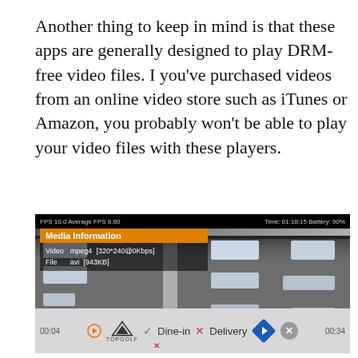Another thing to keep in mind is that these apps are generally designed to play DRM-free video files. I you've purchased videos from an online video store such as iTunes or Amazon, you probably won't be able to play your video files with these players.
[Figure (screenshot): A video player screenshot showing a ceiling interior video with a Media Information overlay panel displaying: Video mpeg4 [320*240@0Kbps], File avi [943KB]. Top bar shows FPS 10.0, Average FPS 8.80, Time: 01:18:15, Battery 90%. Bottom shows an advertisement bar for Topgolf with Dine-in checkmark and Delivery X, navigation arrow button, close button, and timestamps 00:04 and 00:34.]